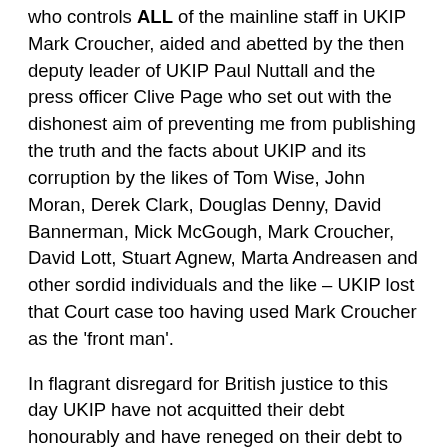who controls ALL of the mainline staff in UKIP Mark Croucher, aided and abetted by the then deputy leader of UKIP Paul Nuttall and the press officer Clive Page who set out with the dishonest aim of preventing me from publishing the truth and the facts about UKIP and its corruption by the likes of Tom Wise, John Moran, Derek Clark, Douglas Denny, David Bannerman, Mick McGough, Mark Croucher, David Lott, Stuart Agnew, Marta Andreasen and other sordid individuals and the like – UKIP lost that Court case too having used Mark Croucher as the 'front man'.
In flagrant disregard for British justice to this day UKIP have not acquitted their debt honourably and have reneged on their debt to me of around £12,500 just as the low life and liar Mark Croucher has shown contempt for